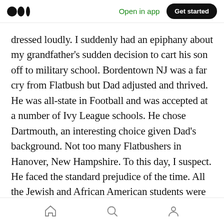Medium logo | Open in app | Get started
dressed loudly. I suddenly had an epiphany about my grandfather's sudden decision to cart his son off to military school. Bordentown NJ was a far cry from Flatbush but Dad adjusted and thrived. He was all-state in Football and was accepted at a number of Ivy League schools. He chose Dartmouth, an interesting choice given Dad's background. Not too many Flatbushers in Hanover, New Hampshire. To this day, I suspect. He faced the standard prejudice of the time. All the Jewish and African American students were banned from joining mainstream fraternities, so
Home | Search | Profile